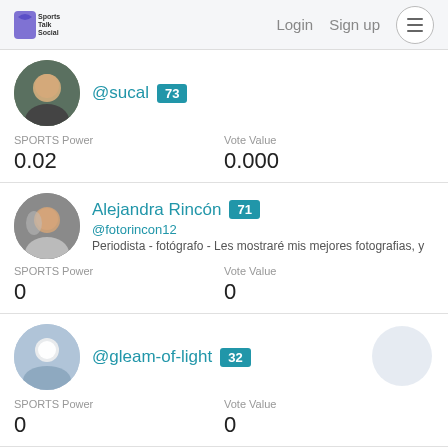Sports Talk Social — Login  Sign up
@sucal 73
SPORTS Power: 0.02
Vote Value: 0.000
Alejandra Rincón 71
@fotorincon12
Periodista - fotógrafo - Les mostraré mis mejores fotografias, y
SPORTS Power: 0
Vote Value: 0
@gleam-of-light 32
SPORTS Power: 0
Vote Value: 0